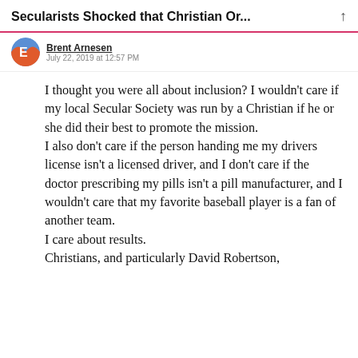Secularists Shocked that Christian Or...
Brent Arnesen · July 22, 2019 at 12:57 PM
I thought you were all about inclusion? I wouldn't care if my local Secular Society was run by a Christian if he or she did their best to promote the mission.
I also don't care if the person handing me my drivers license isn't a licensed driver, and I don't care if the doctor prescribing my pills isn't a pill manufacturer, and I wouldn't care that my favorite baseball player is a fan of another team.
I care about results.
Christians, and particularly David Robertson,